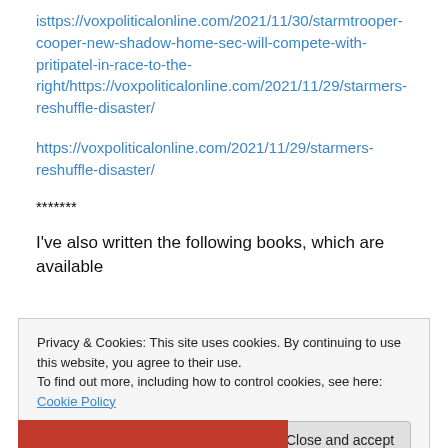isttps://voxpoliticalonline.com/2021/11/30/starmtrooper-cooper-new-shadow-home-sec-will-compete-with-pritipatel-in-race-to-the-right/https://voxpoliticalonline.com/2021/11/29/starmers-reshuffle-disaster/
https://voxpoliticalonline.com/2021/11/29/starmers-reshuffle-disaster/
*******
I've also written the following books, which are available
Privacy & Cookies: This site uses cookies. By continuing to use this website, you agree to their use.
To find out more, including how to control cookies, see here: Cookie Policy